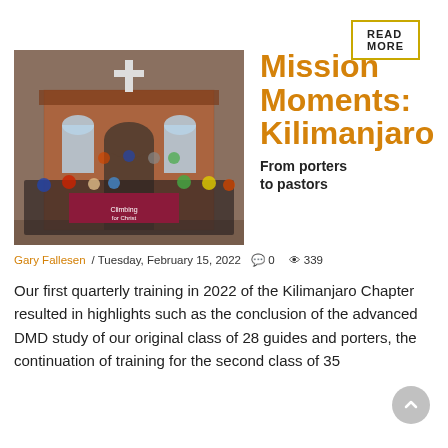READ MORE
[Figure (photo): Group of men standing in front of a brick church building holding a 'Climbing for Christ' banner]
Mission Moments: Kilimanjaro
From porters to pastors
Gary Fallesen / Tuesday, February 15, 2022   0   339
Our first quarterly training in 2022 of the Kilimanjaro Chapter resulted in highlights such as the conclusion of the advanced DMD study of our original class of 28 guides and porters, the continuation of training for the second class of 35